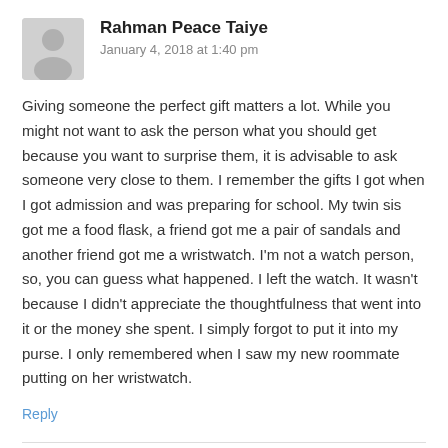[Figure (illustration): Gray placeholder avatar icon for user Rahman Peace Taiye]
Rahman Peace Taiye
January 4, 2018 at 1:40 pm
Giving someone the perfect gift matters a lot. While you might not want to ask the person what you should get because you want to surprise them, it is advisable to ask someone very close to them. I remember the gifts I got when I got admission and was preparing for school. My twin sis got me a food flask, a friend got me a pair of sandals and another friend got me a wristwatch. I'm not a watch person, so, you can guess what happened. I left the watch. It wasn't because I didn't appreciate the thoughtfulness that went into it or the money she spent. I simply forgot to put it into my purse. I only remembered when I saw my new roommate putting on her wristwatch.
Reply
[Figure (illustration): Gray placeholder avatar icon for user Lawrence, Ernest Enyi]
Lawrence, Ernest Enyi